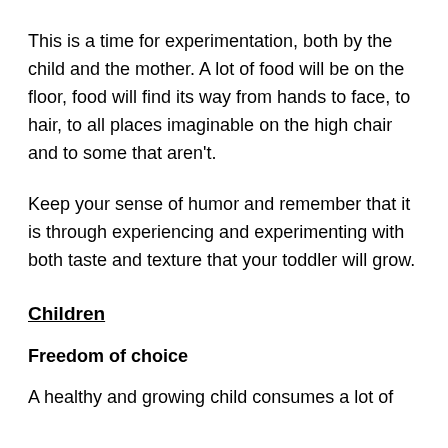This is a time for experimentation, both by the child and the mother. A lot of food will be on the floor, food will find its way from hands to face, to hair, to all places imaginable on the high chair and to some that aren't.
Keep your sense of humor and remember that it is through experiencing and experimenting with both taste and texture that your toddler will grow.
Children
Freedom of choice
A healthy and growing child consumes a lot of